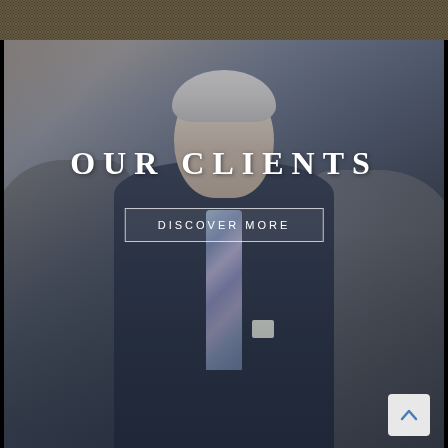[Figure (photo): Header bar with decorative dark gold diamond/dot pattern texture]
[Figure (photo): Group of business professionals in a corridor. A serious older man with silver hair and beard, wearing dark suit with plaid tie, stands arms crossed in center foreground. Behind him are younger colleagues in business attire, slightly blurred.]
OUR CLIENTS
DISCOVER MORE
[Figure (other): Back-to-top arrow button in bottom right corner — light gray rounded square with upward chevron arrow in blue]